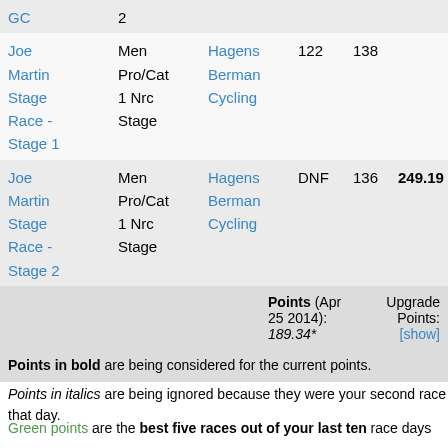|  |  |  |  |  |  |
| --- | --- | --- | --- | --- | --- |
| GC | 2 |  |  |  |  |
| Joe | Men | Hagens | 122 | 138 |  |
| Martin | Pro/Cat | Berman |  |  |  |
| Stage | 1 Nrc | Cycling |  |  |  |
| Race - | Stage |  |  |  |  |
| Stage 1 |  |  |  |  |  |
| Joe | Men | Hagens | DNF | 136 | 249.19 |
| Martin | Pro/Cat | Berman |  |  |  |
| Stage | 1 Nrc | Cycling |  |  |  |
| Race - | Stage |  |  |  |  |
| Stage 2 |  |  |  |  |  |
Points (Apr 25 2014): 189.34*   Upgrade Points: [show]
Points in bold are being considered for the current points.
Points in italics are being ignored because they were your second race that day.
Green points are the best five races out of your last ten race days